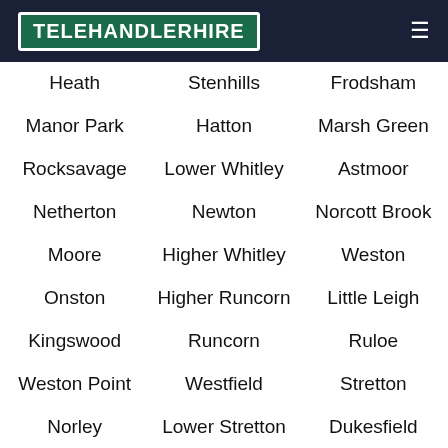TELEHANDLERHIRE
Heath
Stenhills
Frodsham
Manor Park
Hatton
Marsh Green
Rocksavage
Lower Whitley
Astmoor
Netherton
Newton
Norcott Brook
Moore
Higher Whitley
Weston
Onston
Higher Runcorn
Little Leigh
Kingswood
Runcorn
Ruloe
Weston Point
Westfield
Stretton
Norley
Lower Stretton
Dukesfield